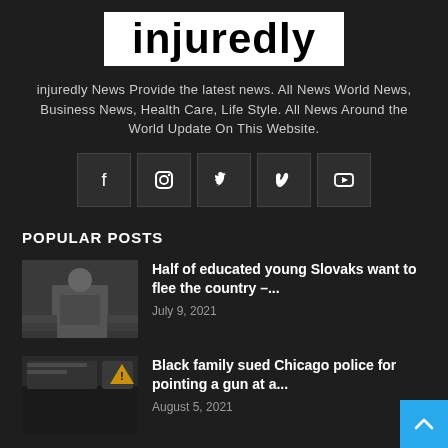[Figure (logo): injuredly logo — black text on white background]
injuredly News Provide the latest news. All News World News, Business News, Health Care, Life Style. All News Around the World Update On This Website.
[Figure (infographic): Social media icons row: Facebook, Instagram, Twitter, Vimeo, YouTube]
POPULAR POSTS
[Figure (photo): Young man sitting with head down, appearing distressed, on steps]
Half of educated young Slovaks want to flee the country –...
July 9, 2021
[Figure (screenshot): Screenshot of video footage showing Black family incident with Chicago police]
Black family sued Chicago police for pointing a gun at a...
August 5, 2021